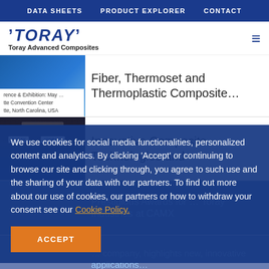DATA SHEETS   PRODUCT EXPLORER   CONTACT
[Figure (logo): TORAY logo with tick marks, subtitle: Toray Advanced Composites]
Fiber, Thermoset and Thermoplastic Composite…
Conference & Exhibition: May … Charlotte Convention Center Charlotte, North Carolina, USA
[Figure (photo): Toray trade show booth at exhibition center]
Innovative Composite Technologies and
Prestigious Awards for … Toray Industries at CAMX
We use cookies for social media functionalities, personalized content and analytics. By clicking 'Accept' or continuing to browse our site and clicking through, you agree to such use and the sharing of your data with our partners. To find out more about our use of cookies, our partners or how to withdraw your consent see our Cookie Policy.
ACCEPT